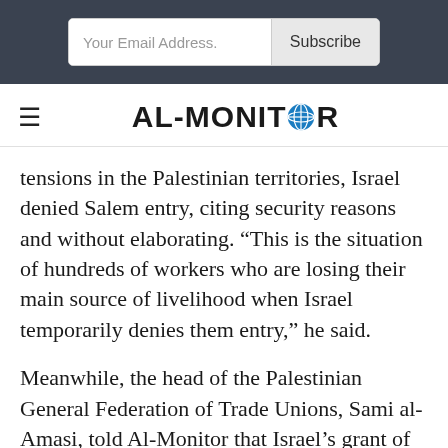[Figure (screenshot): Email subscription bar with input field 'Your Email Address.' and 'Subscribe' button on dark background]
AL-MONITOR
tensions in the Palestinian territories, Israel denied Salem entry, citing security reasons and without elaborating. “This is the situation of hundreds of workers who are losing their main source of livelihood when Israel temporarily denies them entry,” he said.
Meanwhile, the head of the Palestinian General Federation of Trade Unions, Sami al-Amasi, told Al-Monitor that Israel’s grant of work permits to a segment of Gaza residents is not sufficient to revive the deteriorating economic situation